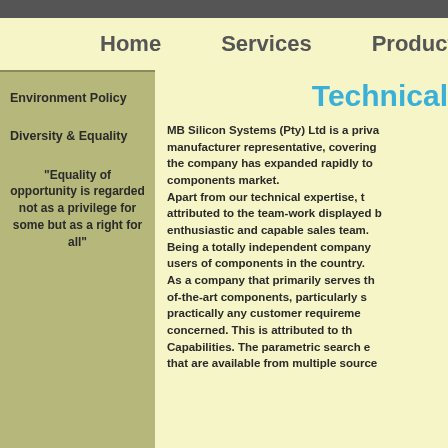Home   Services   Products   Supp
Technical
Environment Policy
Diversity & Equality
"Equality of opportunity is regarded not as a privilege for some but as a right for all"
MB Silicon Systems (Pty) Ltd is a private manufacturer representative, covering the company has expanded rapidly to components market. Apart from our technical expertise, t attributed to the team-work displayed b enthusiastic and capable sales team. Being a totally independent company users of components in the country. As a company that primarily serves th of-the-art components, particularly s practically any customer requireme concerned. This is attributed to th Capabilities. The parametric search e that are available from multiple source